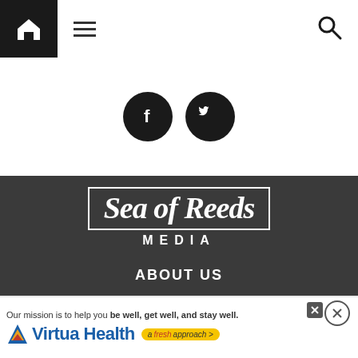[Figure (screenshot): Navigation bar with home icon (black square), hamburger menu icon, and search icon]
[Figure (screenshot): Two dark circular social media icons: Facebook (f) and Twitter (bird)]
[Figure (logo): Sea of Reeds MEDIA logo in white on dark grey background, with bordered box around 'Sea of Reeds' text]
ABOUT US
ADVERTISE WITH US
[Figure (screenshot): Virtua Health advertisement banner: 'Our mission is to help you be well, get well, and stay well.' with Virtua Health logo and 'a fresh approach' tagline]